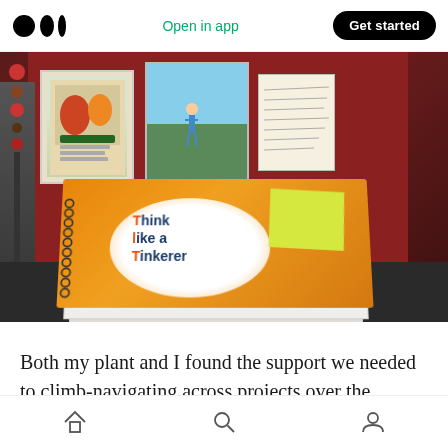Open in app | Get started
[Figure (photo): A stack of spiral-bound notebooks on a desk, with the top notebook being orange with a white oval containing the text 'Think like a Tinkerer'. Behind the notebooks is a dark red bulletin board with various cards and photos pinned to it. A yellow sticky note is visible on the right side of the top notebook. The left side shows what appears to be a decorated pole or pillar.]
Both my plant and I found the support we needed to climb-navigating across projects over the months. As we climbed further, I saw leaves at
Home | Search | Profile